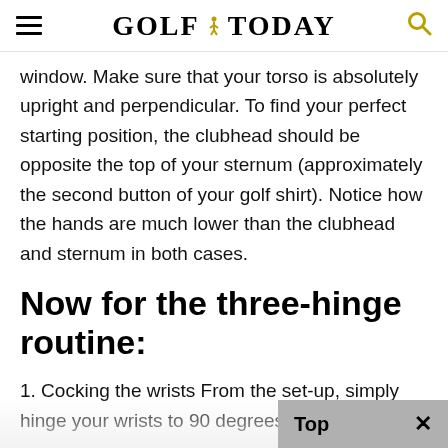GOLF TODAY
window. Make sure that your torso is absolutely upright and perpendicular. To find your perfect starting position, the clubhead should be opposite the top of your sternum (approximately the second button of your golf shirt). Notice how the hands are much lower than the clubhead and sternum in both cases.
Now for the three-hinge routine:
1. Cocking the wrists From the set-up, simply hinge your wrists to 90 degrees – but as you do